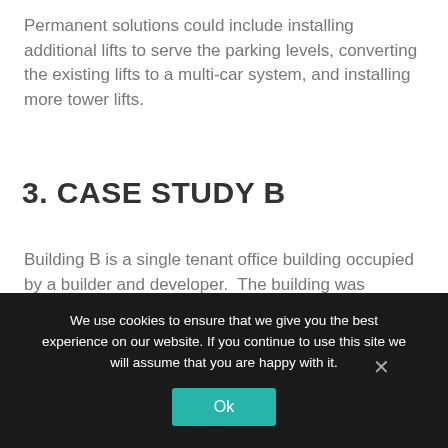Permanent solutions could include installing additional lifts to serve the parking levels, converting the existing lifts to a multi-car system, and installing more tower lifts.
3. CASE STUDY B
Building B is a single tenant office building occupied by a builder and developer.  The building was completed in 2008.  The building was lightly occupied until 2013.  The building has 28 floors.  There are 3 parking levels below the main lobby, a ground level lobby, 5 parking levels above the lobby, and 19 office levels.
We use cookies to ensure that we give you the best experience on our website. If you continue to use this site we will assume that you are happy with it.